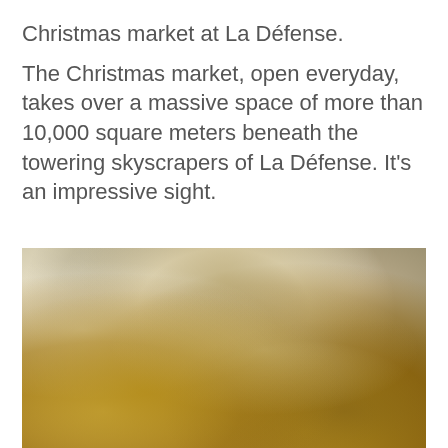Christmas market at La Défense.
The Christmas market, open everyday, takes over a massive space of more than 10,000 square meters beneath the towering skyscrapers of La Défense. It's an impressive sight.
[Figure (photo): Close-up photograph of gold and white Christmas market decorations including ornamental figurines, pearl-like beads, and glittery foliage arrangements.]